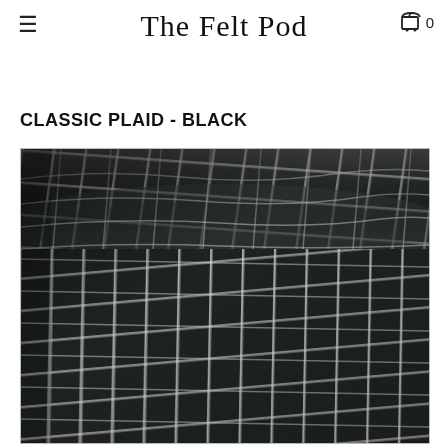The Felt Pod
CLASSIC PLAID - BLACK
[Figure (photo): Close-up photo of black plaid fabric with white grid lines, rolled or folded, showing texture and pattern detail.]